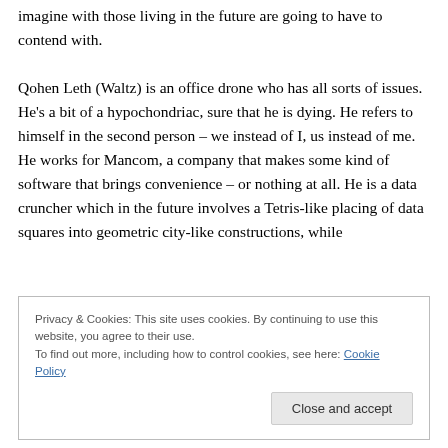imagine with those living in the future are going to have to contend with.

Qohen Leth (Waltz) is an office drone who has all sorts of issues. He's a bit of a hypochondriac, sure that he is dying. He refers to himself in the second person – we instead of I, us instead of me. He works for Mancom, a company that makes some kind of software that brings convenience – or nothing at all. He is a data cruncher which in the future involves a Tetris-like placing of data squares into geometric city-like constructions, while
Privacy & Cookies: This site uses cookies. By continuing to use this website, you agree to their use.
To find out more, including how to control cookies, see here: Cookie Policy
Close and accept